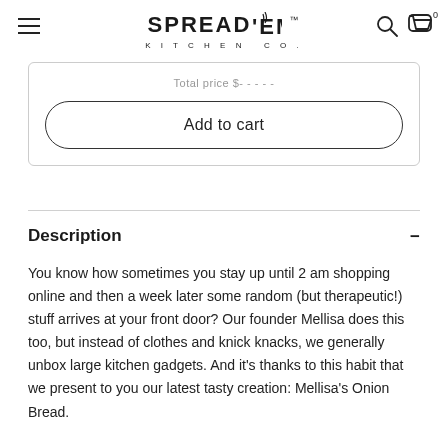SPREAD'EM KITCHEN CO.
Total price $-----
Add to cart
Description
You know how sometimes you stay up until 2 am shopping online and then a week later some random (but therapeutic!) stuff arrives at your front door? Our founder Mellisa does this too, but instead of clothes and knick knacks, we generally unbox large kitchen gadgets. And it's thanks to this habit that we present to you our latest tasty creation: Mellisa's Onion Bread.